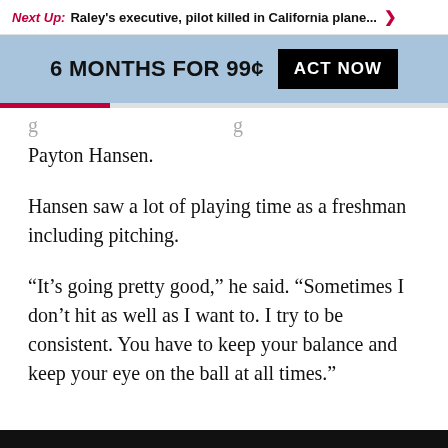Next Up: Raley's executive, pilot killed in California plane... >
6 MONTHS FOR 99¢   ACT NOW
Payton Hansen.
Hansen saw a lot of playing time as a freshman including pitching.
“It’s going pretty good,” he said. “Sometimes I don’t hit as well as I want to. I try to be consistent. You have to keep your balance and keep your eye on the ball at all times.”